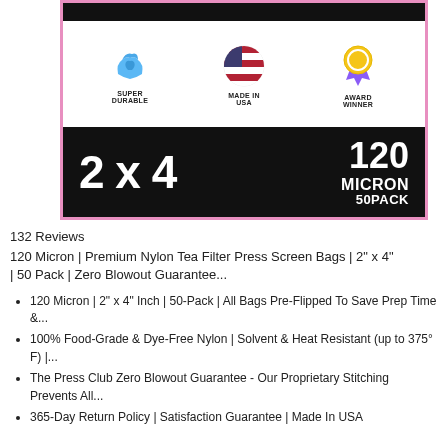[Figure (photo): Product image of 2x4 inch 120 Micron 50 Pack nylon tea filter press screen bags with pink border, icons for Super Durable, Made in USA, Award Winner on white background, and black bar showing 2x4 and 120 Micron 50 Pack]
132 Reviews
120 Micron | Premium Nylon Tea Filter Press Screen Bags | 2" x 4" | 50 Pack | Zero Blowout Guarantee...
120 Micron | 2" x 4" Inch | 50-Pack | All Bags Pre-Flipped To Save Prep Time &...
100% Food-Grade & Dye-Free Nylon | Solvent & Heat Resistant (up to 375° F) |...
The Press Club Zero Blowout Guarantee - Our Proprietary Stitching Prevents All...
365-Day Return Policy | Satisfaction Guarantee | Made In USA